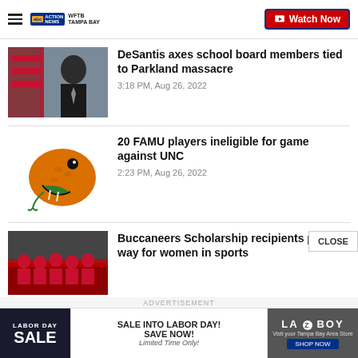WFTB TAMPA BAY — Watch Now
DeSantis axes school board members tied to Parkland massacre
3:18 PM, Aug 26, 2022
20 FAMU players ineligible for game against UNC
2:23 PM, Aug 26, 2022
Buccaneers Scholarship recipients pave way for women in sports
ADVERTISEMENT
SALE INTO LABOR DAY! SAVE NOW! Limited Time Only!
LA-Z-BOY Visit your Tampa Bay Area Store SHOP NOW